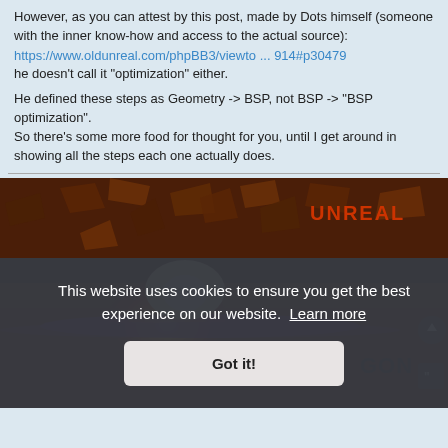However, as you can attest by this post, made by Dots himself (someone with the inner know-how and access to the actual source):
https://www.oldunreal.com/phpBB3/viewto ... 914#p30479
he doesn't call it "optimization" either.
He defined these steps as Geometry -> BSP, not BSP -> "BSP optimization".
So there's some more food for thought for you, until I get around in showing all the steps each one actually does.
[Figure (screenshot): Screenshot of an Unreal game website showing an explosive action scene with glowing fire and debris. A dark cookie consent overlay appears over the bottom portion with text 'This website uses cookies to ensure you get the best experience on our website. Learn more' and a 'Got it!' button.]